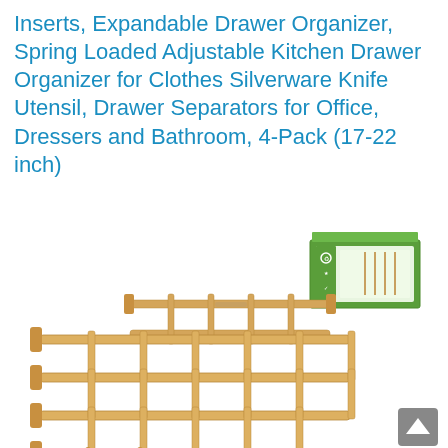Inserts, Expandable Drawer Organizer, Spring Loaded Adjustable Kitchen Drawer Organizer for Clothes Silverware Knife Utensil, Drawer Separators for Office, Dressers and Bathroom, 4-Pack (17-22 inch)
[Figure (photo): Product photo showing bamboo expandable drawer organizer dividers arranged in a grid pattern, with multiple horizontal and vertical separators. A green product box is visible in the upper right of the photo. A grey scroll-to-top arrow button appears in the bottom right corner.]